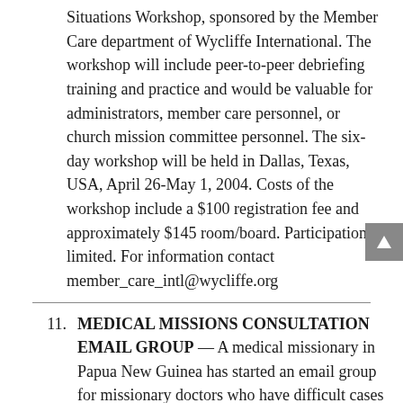Situations Workshop, sponsored by the Member Care department of Wycliffe International. The workshop will include peer-to-peer debriefing training and practice and would be valuable for administrators, member care personnel, or church mission committee personnel. The six-day workshop will be held in Dallas, Texas, USA, April 26-May 1, 2004. Costs of the workshop include a $100 registration fee and approximately $145 room/board. Participation is limited. For information contact member_care_intl@wycliffe.org
11. MEDICAL MISSIONS CONSULTATION EMAIL GROUP — A medical missionary in Papua New Guinea has started an email group for missionary doctors who have difficult cases that they want to consult with other doctors about. He's hoping that a wide spectrum of physicians will join. This may include both active and retired missionaries, and non-